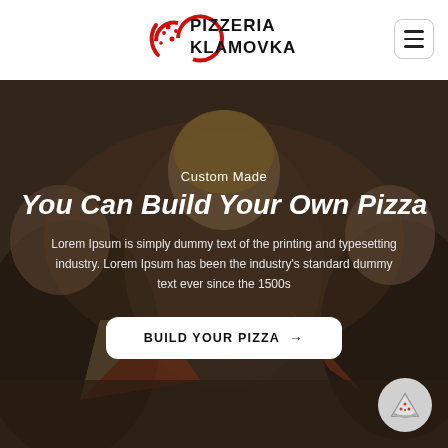[Figure (logo): Pizzeria Klamovka logo with red circular pizza graphic and text PIZZERIA KLAMOVKA]
[Figure (photo): Background photo of group of young people eating pizza slices, laughing and enjoying themselves at a table]
Custom Made
You Can Build Your Own Pizza
Lorem Ipsum is simply dummy text of the printing and typesetting industry. Lorem Ipsum has been the industry's standard dummy text ever since the 1500s
BUILD YOUR PIZZA →